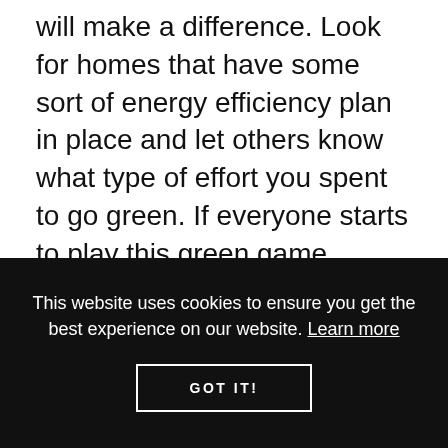available right now anyway, every small step forward will make a difference. Look for homes that have some sort of energy efficiency plan in place and let others know what type of effort you spent to go green. If everyone starts to play this green game there's no telling how far it will lead in the future.
POSTED BY ON NOVEMBER 23RD, 2012
This website uses cookies to ensure you get the best experience on our website. Learn more
GOT IT!